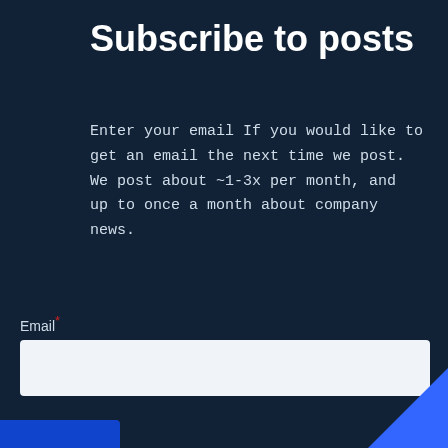Subscribe to posts
Enter your email If you would like to get an email the next time we post. We post about ~1-3x per month, and up to once a month about company news.
Email*
Subscribe